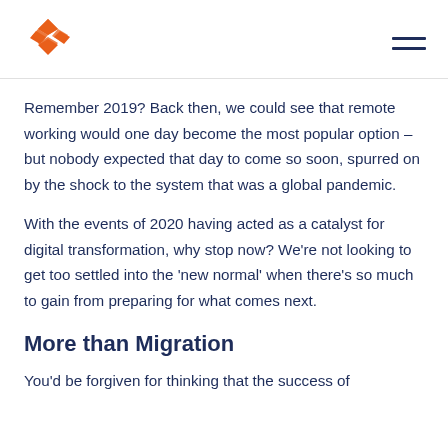[Figure (logo): Orange geometric diamond/arrow logo made of overlapping triangular shapes]
Remember 2019? Back then, we could see that remote working would one day become the most popular option – but nobody expected that day to come so soon, spurred on by the shock to the system that was a global pandemic.
With the events of 2020 having acted as a catalyst for digital transformation, why stop now? We're not looking to get too settled into the 'new normal' when there's so much to gain from preparing for what comes next.
More than Migration
You'd be forgiven for thinking that the success of